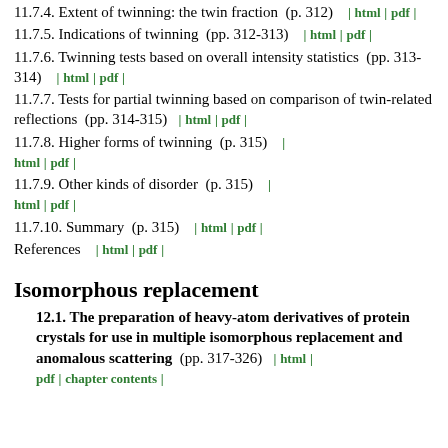11.7.4. Extent of twinning: the twin fraction (p. 312) | html | pdf |
11.7.5. Indications of twinning (pp. 312-313) | html | pdf |
11.7.6. Twinning tests based on overall intensity statistics (pp. 313-314) | html | pdf |
11.7.7. Tests for partial twinning based on comparison of twin-related reflections (pp. 314-315) | html | pdf |
11.7.8. Higher forms of twinning (p. 315) | html | pdf |
11.7.9. Other kinds of disorder (p. 315) | html | pdf |
11.7.10. Summary (p. 315) | html | pdf |
References | html | pdf |
Isomorphous replacement
12.1. The preparation of heavy-atom derivatives of protein crystals for use in multiple isomorphous replacement and anomalous scattering (pp. 317-326) | html | pdf | chapter contents |